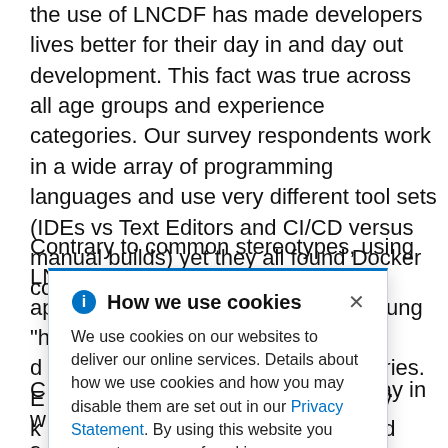the use of LNCDF has made developers lives better for their day in and day out development. This fact was true across all age groups and experience categories. Our survey respondents work in a wide array of programming languages and use very different tool sets (IDEs vs Text Editors and CI/CD versus manual builds) yet they all found Docker containers of benefit.
Contrary to common stereotypes, using LNCDF does not appear to be appealing to just the young "hipster" d[...] ge categories. E[...] d that they k[...] o learn and u[...]
[Figure (other): Cookie consent popup dialog with blue top border, info icon, title 'How we use cookies', close X button, body text about cookie usage policy with a Privacy Statement link.]
C[...] hat the way in w[...] om s[...] ariation in responses for how developers are using LNCDF in